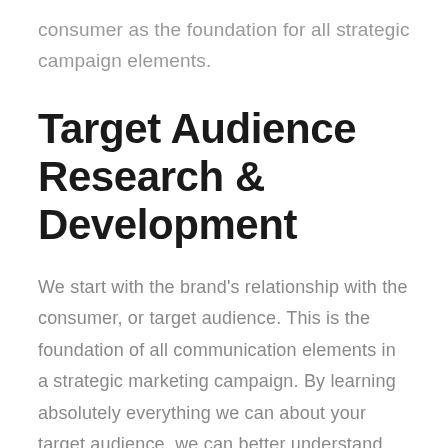consumer as the foundation for all strategic campaign elements.
Target Audience Research & Development
We start with the brand's relationship with the consumer, or target audience. This is the foundation of all communication elements in a strategic marketing campaign. By learning absolutely everything we can about your target audience, we can better understand their needs and how your communications should speak to